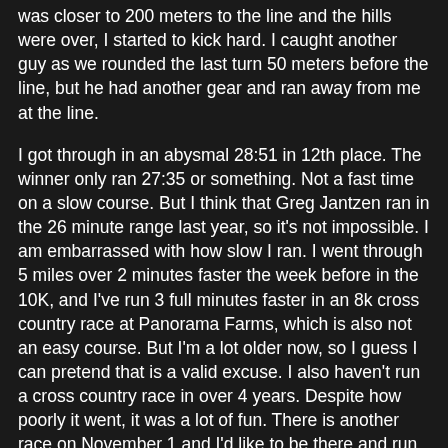was closer to 200 meters to the line and the hills were over, I started to kick hard. I caught another guy as we rounded the last turn 50 meters before the line, but he had another gear and ran away from me at the line.
I got through in an abysmal 28:51 in 12th place. The winner only ran 27:35 or something. Not a fast time on a slow course. But I think that Greg Jantzen ran in the 26 minute range last year, so it's not impossible. I am embarrassed with how slow I ran. I went through 5 miles over 2 minutes faster the week before in the 10K, and I've run 3 full minutes faster in an 8k cross country race at Panorama Farms, which is also not an easy course. But I'm a lot older now, so I guess I can pretend that is a valid excuse. I also haven't run a cross country race in over 4 years. Despite how poorly it went, it was a lot of fun. There is another race on November 1 and I'd like to be there and run faster.
Now I begin my tapering. I have a half marathon on October 5. This cross country race wasn't quite the confidence booster I was looking for, but the Pepsi 10k went well and my workouts have been OK. I have to remember that I took